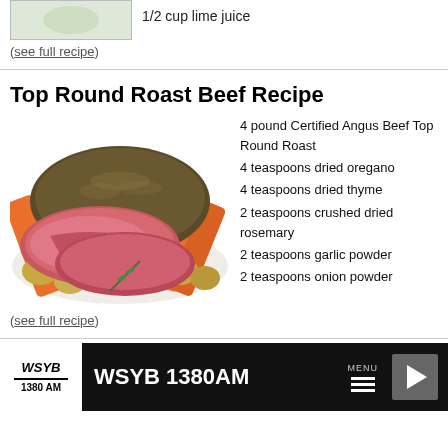[Figure (photo): Partial view of a food dish photo at top of page]
1/2 cup lime juice
(see full recipe)
Top Round Roast Beef Recipe
[Figure (photo): Sliced top round roast beef with carrots and potatoes on a white plate]
4 pound Certified Angus Beef Top Round Roast
4 teaspoons dried oregano
4 teaspoons dried thyme
2 teaspoons crushed dried rosemary
2 teaspoons garlic powder
2 teaspoons onion powder
(see full recipe)
WSYB 1380AM MENU